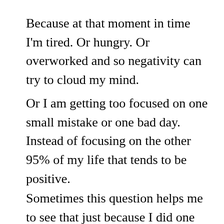Because at that moment in time I'm tired. Or hungry. Or overworked and so negativity can try to cloud my mind.
Or I am getting too focused on one small mistake or one bad day. Instead of focusing on the other 95% of my life that tends to be positive.
Sometimes this question helps me to see that just because I did one small thing wrong